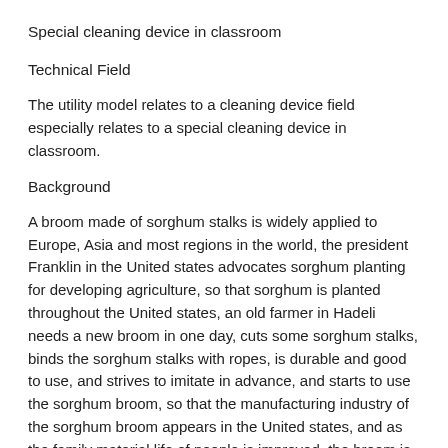Special cleaning device in classroom
Technical Field
The utility model relates to a cleaning device field especially relates to a special cleaning device in classroom.
Background
A broom made of sorghum stalks is widely applied to Europe, Asia and most regions in the world, the president Franklin in the United states advocates sorghum planting for developing agriculture, so that sorghum is planted throughout the United states, an old farmer in Hadeli needs a new broom in one day, cuts some sorghum stalks, binds the sorghum stalks with ropes, is durable and good to use, and strives to imitate in advance, and starts to use the sorghum broom, so that the manufacturing industry of the sorghum broom appears in the United states, and as the family material life of people is improved, the broom is more and more exquisite in material, comprises small brooms special for clothes and wardrobes, and is superior in material. The broom made of the novel softer material is